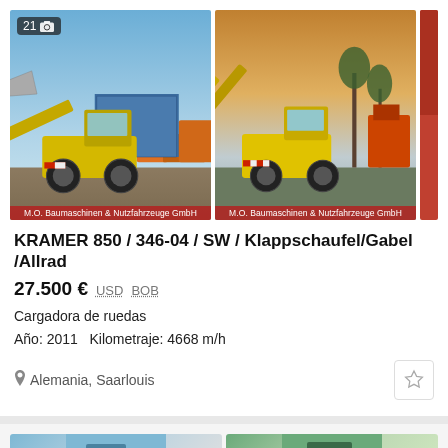[Figure (photo): Two photos of a Kramer 850 wheel loader with bucket and fork attachments, shown in a dealer lot. Both photos watermarked 'M.O. Baumaschinen & Nutzfahrzeuge GmbH'. Left photo shows '21' photo count badge. A third partially visible photo is cropped on the right.]
KRAMER 850 / 346-04 / SW / Klappschaufel/Gabel /Allrad
27.500 €  USD  BOB
Cargadora de ruedas
Año: 2011   Kilometraje: 4668 m/h
Alemania, Saarlouis
[Figure (photo): Two partially visible thumbnail photos at the bottom of the page, one with blue/gray tones and one with green tones.]